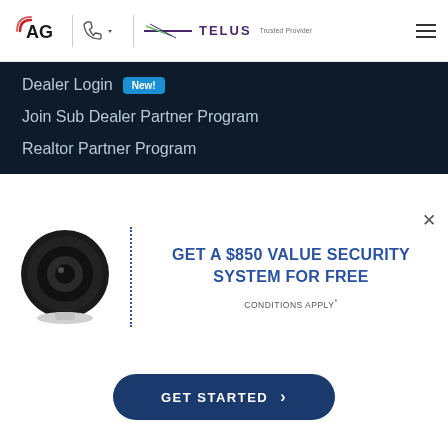[Figure (logo): AG logo with signal icon, phone icon, TELUS Trusted Provider logo in white header navigation bar]
Dealer Login New!
Join Sub Dealer Partner Program
Realtor Partner Program
GET A $850 VALUE SECURITY SYSTEM FOR FREE
CONDITIONS APPLY*
GET STARTED →